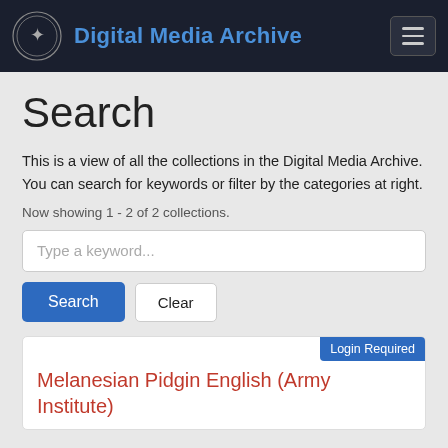Digital Media Archive
Search
This is a view of all the collections in the Digital Media Archive. You can search for keywords or filter by the categories at right.
Now showing 1 - 2 of 2 collections.
Type a keyword...
Search   Clear
Login Required
Melanesian Pidgin English (Army Institute)